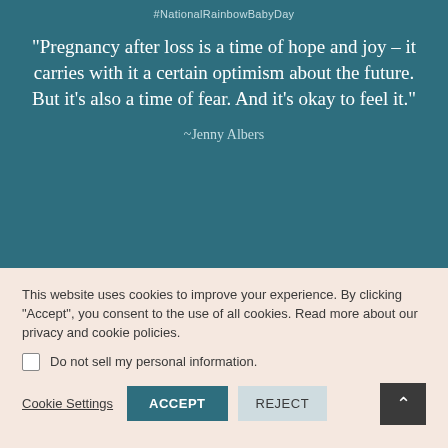#NationalRainbowBabyDay
“Pregnancy after loss is a time of hope and joy – it carries with it a certain optimism about the future. But it’s also a time of fear. And it’s okay to feel it.”
~Jenny Albers
This website uses cookies to improve your experience. By clicking “Accept”, you consent to the use of all cookies. Read more about our privacy and cookie policies.
Do not sell my personal information.
Cookie Settings | ACCEPT | REJECT